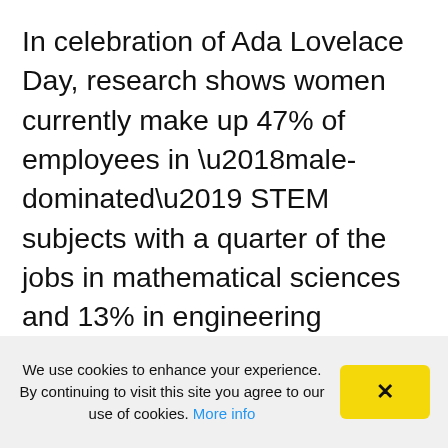In celebration of Ada Lovelace Day, research shows women currently make up 47% of employees in ‘male-dominated’ STEM subjects with a quarter of the jobs in mathematical sciences and 13% in engineering positions.
We use cookies to enhance your experience. By continuing to visit this site you agree to our use of cookies. More info